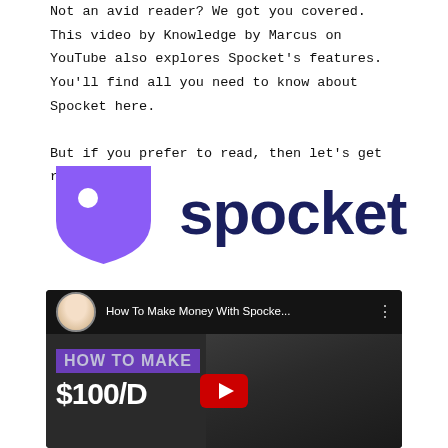Not an avid reader? We got you covered. This video by Knowledge by Marcus on YouTube also explores Spocket's features. You'll find all you need to know about Spocket here.

But if you prefer to read, then let's get right to it!
[Figure (logo): Spocket logo: purple shield icon on the left, dark navy 'spocket' wordmark on the right]
[Figure (screenshot): YouTube video thumbnail for 'How To Make Money With Spocket...' showing a young man and purple banner reading HOW TO MAKE $100/D with YouTube play button overlay]